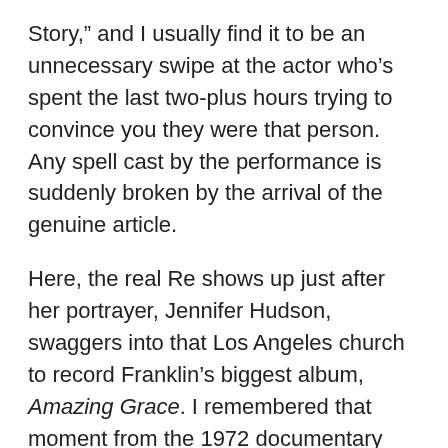Story," and I usually find it to be an unnecessary swipe at the actor who's spent the last two-plus hours trying to convince you they were that person. Any spell cast by the performance is suddenly broken by the arrival of the genuine article.
Here, the real Re shows up just after her portrayer, Jennifer Hudson, swaggers into that Los Angeles church to record Franklin's biggest album, Amazing Grace. I remembered that moment from the 1972 documentary film of the concert, which sat unfinished for almost 50 years before its world premiere in 2018. In my review, I said that movie took me back to church. Watching Hudson sing the title song, decked in the same outfit and hairstyle, I felt similarly transcended.